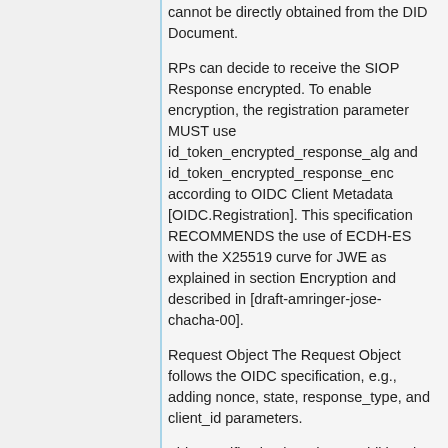cannot be directly obtained from the DID Document.
RPs can decide to receive the SIOP Response encrypted. To enable encryption, the registration parameter MUST use id_token_encrypted_response_alg and id_token_encrypted_response_enc according to OIDC Client Metadata [OIDC.Registration]. This specification RECOMMENDS the use of ECDH-ES with the X25519 curve for JWE as explained in section Encryption and described in [draft-amringer-jose-chacha-00].
Request Object The Request Object follows the OIDC specification, e.g., adding nonce, state, response_type, and client_id parameters.
This specification introduces additional